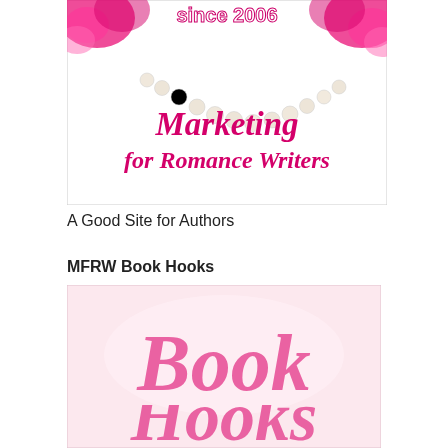[Figure (logo): Marketing for Romance Writers logo — pink cursive script 'Marketing for Romance Writers' with 'since 2006' at top, pink roses and pearl necklace in background on white]
A Good Site for Authors
MFRW Book Hooks
[Figure (logo): MFRW Book Hooks logo — pink cursive script 'Book' visible on light pink background, partial view of the full logo]